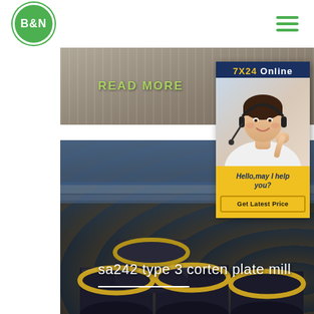B&N
[Figure (photo): Industrial material/powder on a conveyor or surface, with READ MORE text overlay in green]
READ MORE
[Figure (photo): Stack of insulated steel pipes in a warehouse/industrial setting]
sa242 type 3 corten plate mill
[Figure (infographic): 7X24 Online chat widget with customer service representative photo, Hello may I help you?, and Get Latest Price button]